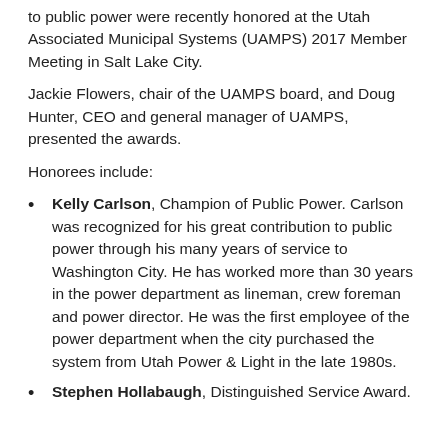to public power were recently honored at the Utah Associated Municipal Systems (UAMPS) 2017 Member Meeting in Salt Lake City.
Jackie Flowers, chair of the UAMPS board, and Doug Hunter, CEO and general manager of UAMPS, presented the awards.
Honorees include:
Kelly Carlson, Champion of Public Power. Carlson was recognized for his great contribution to public power through his many years of service to Washington City. He has worked more than 30 years in the power department as lineman, crew foreman and power director. He was the first employee of the power department when the city purchased the system from Utah Power & Light in the late 1980s.
Stephen Hollabaugh, Distinguished Service Award.